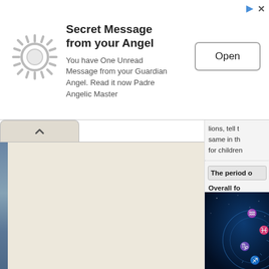[Figure (screenshot): Advertisement banner with gear/sun icon, bold title 'Secret Message from your Angel', body text, and Open button]
Secret Message from your Angel
You have One Unread Message from your Guardian Angel. Read it now Padre Angelic Master
[Figure (illustration): Beige/cream colored left panel area with a dark left edge image and a tab with up-arrow chevron]
lions, tell t same in th for children
The period o
Overall fo
[Figure (illustration): Dark blue astrology/zodiac wheel image showing zodiac symbols on a deep blue starry background]